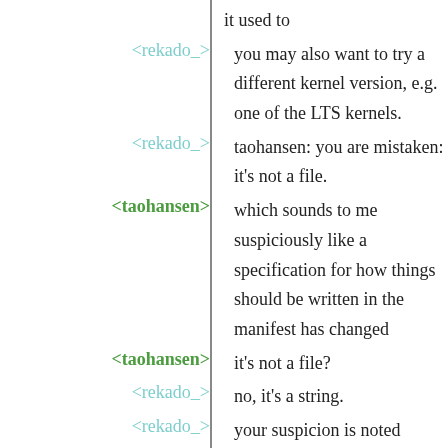it used to
<rekado_> you may also want to try a different kernel version, e.g. one of the LTS kernels.
<rekado_> taohansen: you are mistaken: it's not a file.
<taohansen> which sounds to me suspiciously like a specification for how things should be written in the manifest has changed
<taohansen> it's not a file?
<rekado_> no, it's a string.
<rekado_> your suspicion is noted